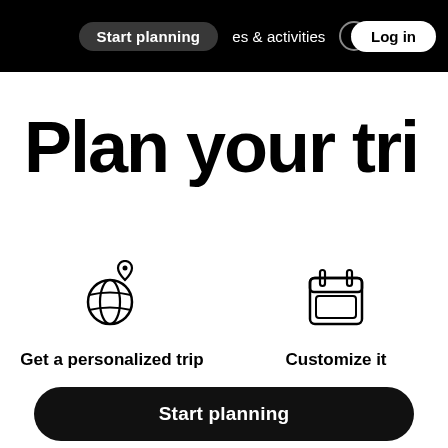Start planning   es & activities   Log in
Plan your tri
[Figure (illustration): Globe with location pin icon, representing personalized trip]
Get a personalized trip
A full day by day itinerary based on your preferences
[Figure (illustration): Calendar icon, representing customizable itinerary]
Customize it
Refine your trip. We'll t... best routes and sche...
Start planning